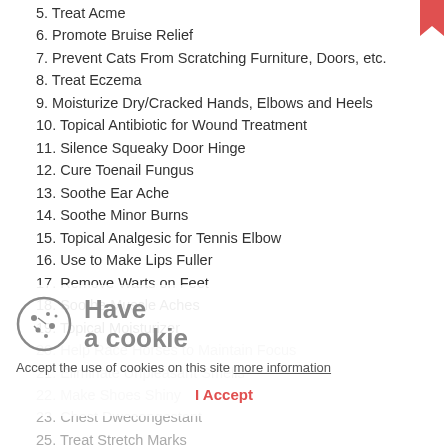5. Treat Acme
6. Promote Bruise Relief
7. Prevent Cats From Scratching Furniture, Doors, etc.
8. Treat Eczema
9. Moisturize Dry/Cracked Hands, Elbows and Heels
10. Topical Antibiotic for Wound Treatment
11. Silence Squeaky Door Hinge
12. Cure Toenail Fungus
13. Soothe Ear Ache
14. Soothe Minor Burns
15. Topical Analgesic for Tennis Elbow
16. Use to Make Lips Fuller
17. Remove Warts on Feet
18. Soothe Muscle Aches
19. Topical Moisturizer
20. Help Race Horses to Maintain Focus
21. Eliminate Unpleasant Smells
22. Make Shoes Shiny
23. Chest Dwecongestant
25. Treat Stretch Marks
27. Fat-burning Creame